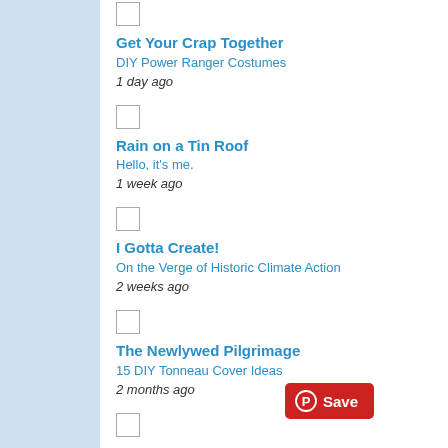[Figure (photo): Stack of holographic/iridescent CD cases or similar reflective rectangular objects piled on a surface, photographed from above at an angle, visible in the top-right area of the page.]
Get Your Crap Together
DIY Power Ranger Costumes
1 day ago
Rain on a Tin Roof
Hello, it's me.
1 week ago
I Gotta Create!
On the Verge of Historic Climate Action
2 weeks ago
The Newlywed Pilgrimage
15 DIY Tonneau Cover Ideas
2 months ago
Bowdabra Blog
[Figure (other): Pinterest Save button (red rounded rectangle with Pinterest logo and the word Save in white)]